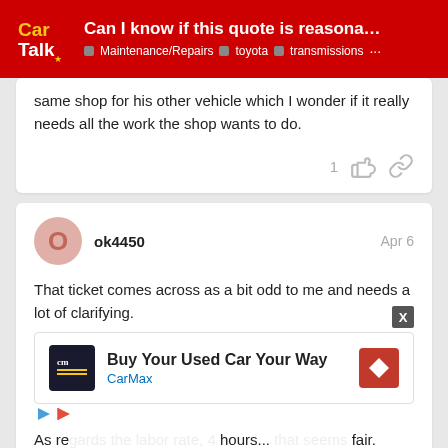Can I know if this quote is reasonable for T... | Maintenance/Repairs · toyota · transmissions
same shop for his other vehicle which I wonder if it really needs all the work the shop wants to do.
ok4450  Apr 6
That ticket comes across as a bit odd to me and needs a lot of clarifying.
As re... hour... fair. If it n... p is not b...
[Figure (screenshot): CarMax advertisement overlay: 'Buy Your Used Car Your Way' with CarMax logo and navigation icon]